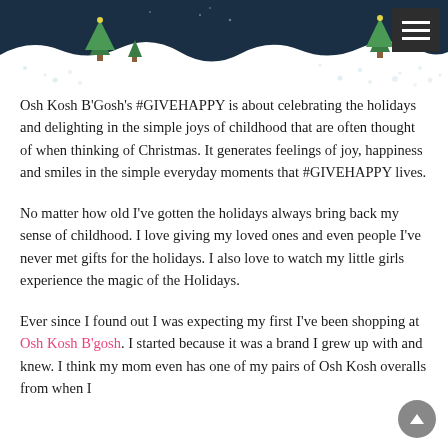[Figure (illustration): Decorative header banner with dark navy background, illustrated holiday/winter scene with Christmas trees (green) and snow/dots on a wavy white border at the bottom.]
Osh Kosh B'Gosh's #GIVEHAPPY is about celebrating the holidays and delighting in the simple joys of childhood that are often thought of when thinking of Christmas. It generates feelings of joy, happiness and smiles in the simple everyday moments that #GIVEHAPPY lives.
No matter how old I've gotten the holidays always bring back my sense of childhood. I love giving my loved ones and even people I've never met gifts for the holidays. I also love to watch my little girls experience the magic of the Holidays.
Ever since I found out I was expecting my first I've been shopping at Osh Kosh B'gosh. I started because it was a brand I grew up with and knew. I think my mom even has one of my pairs of Osh Kosh overalls from when I